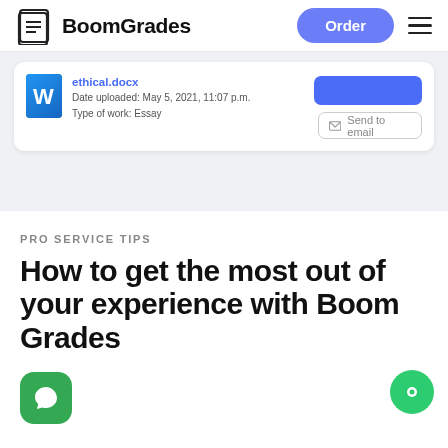BoomGrades — Order
[Figure (screenshot): File download card showing ethical.docx with date uploaded May 5, 2021, 11:07 p.m., Type of work: Essay, with a blue download button and Send to email button]
PRO SERVICE TIPS
How to get the most out of your experience with Boom Grades
[Figure (logo): Green square icon at bottom left and green chat bubble at bottom right]